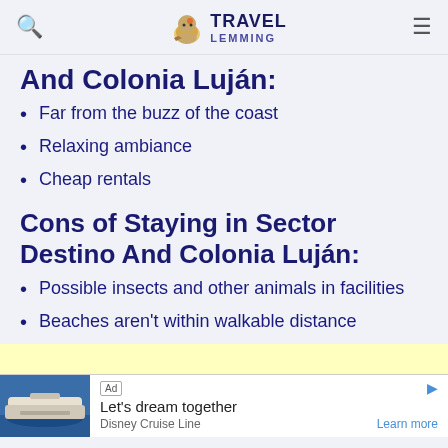Travel Lemming
And Colonia Luján:
Far from the buzz of the coast
Relaxing ambiance
Cheap rentals
Cons of Staying in Sector Destino And Colonia Luján:
Possible insects and other animals in facilities
Beaches aren't within walkable distance
Ad - Let's dream together - Disney Cruise Line - Learn more